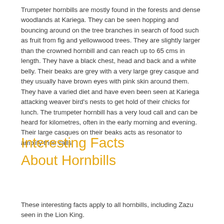Trumpeter hornbills are mostly found in the forests and dense woodlands at Kariega. They can be seen hopping and bouncing around on the tree branches in search of food such as fruit from fig and yellowwood trees. They are slightly larger than the crowned hornbill and can reach up to 65 cms in length. They have a black chest, head and back and a white belly. Their beaks are grey with a very large grey casque and they usually have brown eyes with pink skin around them. They have a varied diet and have even been seen at Kariega attacking weaver bird's nests to get hold of their chicks for lunch. The trumpeter hornbill has a very loud call and can be heard for kilometres, often in the early morning and evening. Their large casques on their beaks acts as resonator to amplify their calls.
Interesting Facts About Hornbills
These interesting facts apply to all hornbills, including Zazu seen in the Lion King.